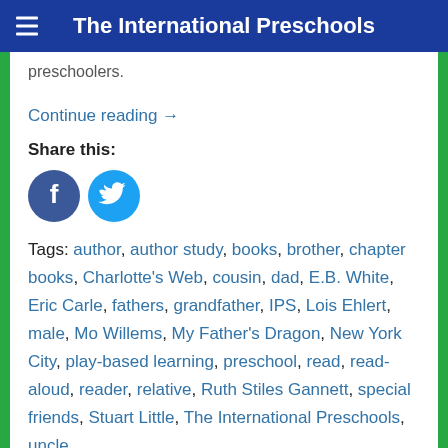The International Preschools
preschoolers.
Continue reading →
Share this:
[Figure (illustration): Facebook and Twitter social share icons (blue circles with f and bird logos)]
Tags: author, author study, books, brother, chapter books, Charlotte's Web, cousin, dad, E.B. White, Eric Carle, fathers, grandfather, IPS, Lois Ehlert, male, Mo Willems, My Father's Dragon, New York City, play-based learning, preschool, read, read-aloud, reader, relative, Ruth Stiles Gannett, special friends, Stuart Little, The International Preschools, uncle